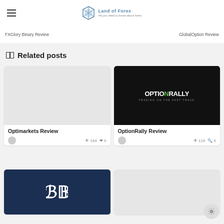Land of Forex — All you need to know about forex
FXGlory Binary Review | GlobalOption Review
Related posts
[Figure (screenshot): Optimarkets Review card with grey placeholder image]
Optimarkets Review
164 views, 0 likes
[Figure (logo): OptionRally Review card with dark background logo: OPTIONRALLY TRADING ON THE FAST TRACK]
OptionRally Review
119 views, 0 likes
[Figure (logo): Card with navy background showing stylized BB logo]
[Figure (screenshot): Second bottom card with grey placeholder image]